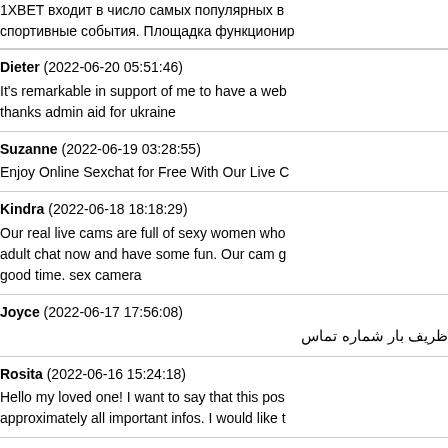1XBET входит в число самых популярных в... спортивные события. Площадка функционир...
Dieter (2022-06-20 05:51:46) It's remarkable in support of me to have a web... thanks admin aid for ukraine
Suzanne (2022-06-19 03:28:55) Enjoy Online Sexchat for Free With Our Live C...
Kindra (2022-06-18 18:18:29) Our real live cams are full of sexy women who... adult chat now and have some fun. Our cam g... good time. sex camera
Joyce (2022-06-17 17:56:08) ظریف بار شماره تماس
Rosita (2022-06-16 15:24:18) Hello my loved one! I want to say that this pos... approximately all important infos. I would like t...
Shawna (2022-06-11 20:12:54) Unbelievably user pleasant site. Huge info offe...
Nigel (2022-06-06 21:38:17) You have very nice post and pictures, please k... temples of Angkor